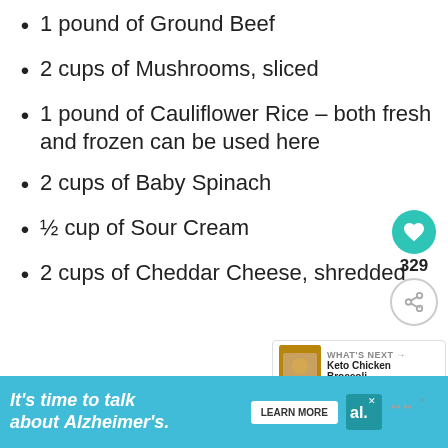1 pound of Ground Beef
2 cups of Mushrooms, sliced
1 pound of Cauliflower Rice – both fresh and frozen can be used here
2 cups of Baby Spinach
½ cup of Sour Cream
2 cups of Cheddar Cheese, shredded
[Figure (infographic): Social interaction sidebar with teal heart button, 329 count, and share button]
[Figure (infographic): What's Next panel: Keto Chicken Broccoli... with food thumbnail]
[Figure (infographic): Alzheimer's Association advertisement banner: It's time to talk about Alzheimer's. with Learn More button]